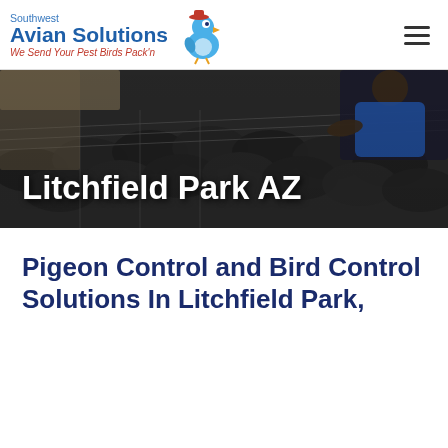Southwest Avian Solutions — We Send Your Pest Birds Pack'n
[Figure (photo): Dark hero banner photograph showing a person installing bird netting on roof tiles, hands visible working on the mesh]
Litchfield Park AZ
Pigeon Control and Bird Control Solutions In Litchfield Park, Arizona